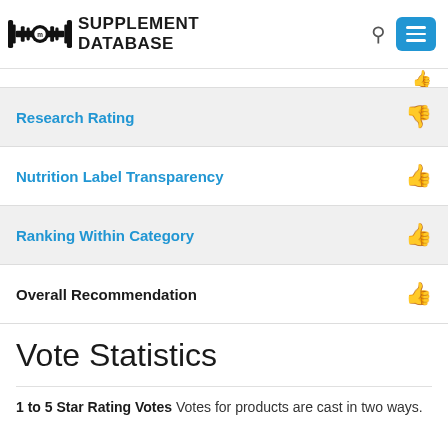[Figure (logo): Supplement Database logo with barbell and dumbbell icon]
Research Rating [thumbs down - red]
Nutrition Label Transparency [thumbs up - green]
Ranking Within Category [thumbs up - green]
Overall Recommendation [thumbs up - green]
Vote Statistics
1 to 5 Star Rating Votes Votes for products are cast in two ways.